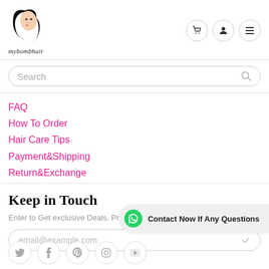[Figure (logo): mybombhair logo with stylized woman illustration and cursive brand name]
[Figure (other): Navigation icon buttons: shopping cart, user account, hamburger menu]
Search
FAQ
How To Order
Hair Care Tips
Payment&Shipping
Return&Exchange
Keep in Touch
Enter to Get exclusive Deals, Promos, Giveaways
email@example.com
Contact Now If Any Questions
[Figure (other): Social media icons row: Twitter, Facebook, Pinterest, Instagram, YouTube]